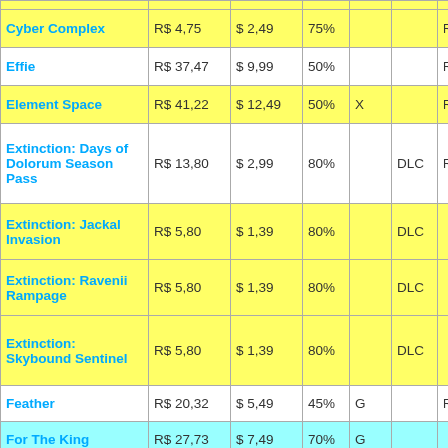| Name | BRL | USD | % | Flag | Type | RS |
| --- | --- | --- | --- | --- | --- | --- |
| Cyber Complex | R$ 4,75 | $ 2,49 | 75% |  |  | R$ |
| Effie | R$ 37,47 | $ 9,99 | 50% |  |  | R$ |
| Element Space | R$ 41,22 | $ 12,49 | 50% | X |  | R$ |
| Extinction: Days of Dolorum Season Pass | R$ 13,80 | $ 2,99 | 80% |  | DLC | R$ |
| Extinction: Jackal Invasion | R$ 5,80 | $ 1,39 | 80% |  | DLC |  |
| Extinction: Ravenii Rampage | R$ 5,80 | $ 1,39 | 80% |  | DLC |  |
| Extinction: Skybound Sentinel | R$ 5,80 | $ 1,39 | 80% |  | DLC |  |
| Feather | R$ 20,32 | $ 5,49 | 45% | G |  | R$ |
| For The King | R$ 27,73 | $ 7,49 | 70% | G |  |  |
| Generation Zero | R$ 44,98 | $ 11,99 | 60% | G,X |  | R$ |
| Generation Zero: |  |  |  |  | jogo |  |